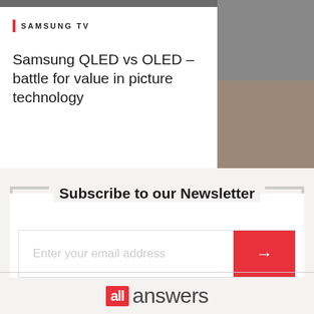SAMSUNG TV
Samsung QLED vs OLED – battle for value in picture technology
Subscribe to our Newsletter
Enter your email address
[Figure (logo): all answers logo with red badge and grey text]